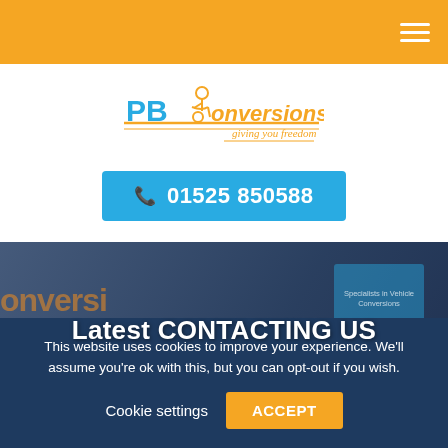Navigation bar with hamburger menu
[Figure (logo): PB Conversions logo - 'giving you freedom' tagline with wheelchair icon]
📞 01525 850588
[Figure (photo): Blurred photo of vehicle conversion shop exterior with vans and signage]
Latest CONTACTING US
This website uses cookies to improve your experience. We'll assume you're ok with this, but you can opt-out if you wish.
Cookie settings   ACCEPT